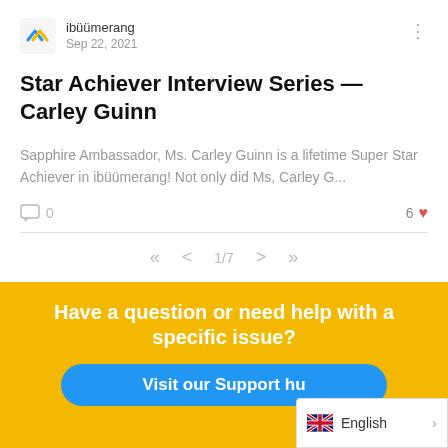ibüümerang · Sep 22, 2021
Star Achiever Interview Series — Carley Guinn
Sapphire Ambassador, Ms. Carley Guinn is a lifetime Super Star Achiever in ibüümerang! Not only did Ms, Carley G…
0 comments · 6 likes
«  <  1/7  >  »
Have a question or need help with a specific issue?
Visit our Support hu
English